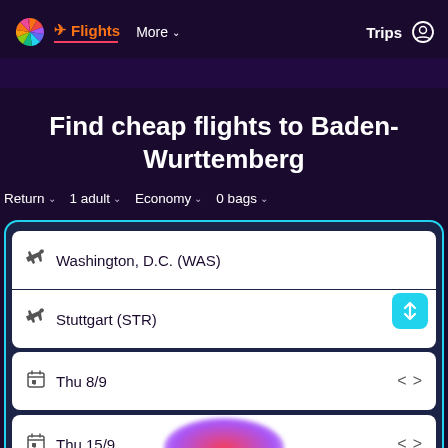Flights | More | Trips
Find cheap flights to Baden-Wurttemberg
Return ∨  1 adult ∨  Economy ∨  0 bags ∨
Washington, D.C. (WAS)
Stuttgart (STR)
Thu 8/9
Thu 15/9